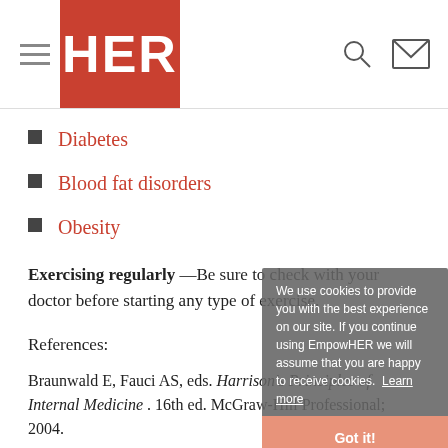HER — navigation header with hamburger menu, logo, search and mail icons
Diabetes
Blood fat disorders
Obesity
Exercising regularly —Be sure to check with your doctor before starting any type of exercise.
References:
Braunwald E, Fauci AS, eds. Harrison's Principles of Internal Medicine . 16th ed. McGraw-Hill Professional; 2004.
Society of Cardiovascular and Interventional Radiology website. Available at: http://www.sirweb.org/ .
Textbook of Clinical Neurology. 2nd ed. W.B. Saunders;